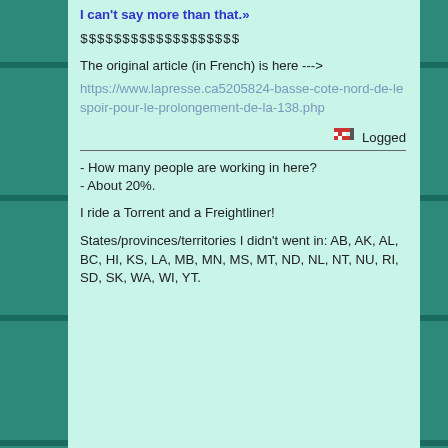I can't say more than that.»
$$$$$$$$$$$$$$$$$$$
The original article (in French) is here --->
https://www.lapresse.ca5205824-basse-cote-nord-de-lespoir-pour-le-prolongement-de-la-138.php
Logged
- How many people are working in here?
- About 20%.
I ride a Torrent and a Freightliner!
States/provinces/territories I didn't went in: AB, AK, AL, BC, HI, KS, LA, MB, MN, MS, MT, ND, NL, NT, NU, RI, SD, SK, WA, WI, YT.